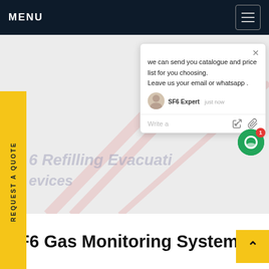MENU
[Figure (screenshot): Chat popup widget with message: 'we can send you catalogue and price list for you choosing. Leave us your email or whatsapp .' with SF6 Expert agent shown as 'just now', and green chat FAB button with red badge showing 1]
SF6 Refilling Evacuating Devices
SF6 Gas Monitoring System